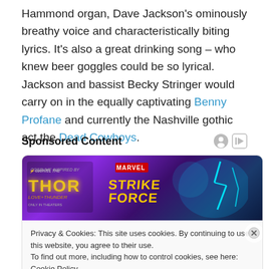Hammond organ, Dave Jackson's ominously breathy voice and characteristically biting lyrics. It's also a great drinking song – who knew beer goggles could be so lyrical. Jackson and bassist Becky Stringer would carry on in the equally captivating Benny Profane and currently the Nashville gothic act the Dead Cowboys.
Sponsored Content
[Figure (other): Advertisement banner for Marvel Strike Force game, featuring Thor: Love and Thunder branding with a dark purple/blue background and game characters.]
Privacy & Cookies: This site uses cookies. By continuing to use this website, you agree to their use.
To find out more, including how to control cookies, see here: Cookie Policy